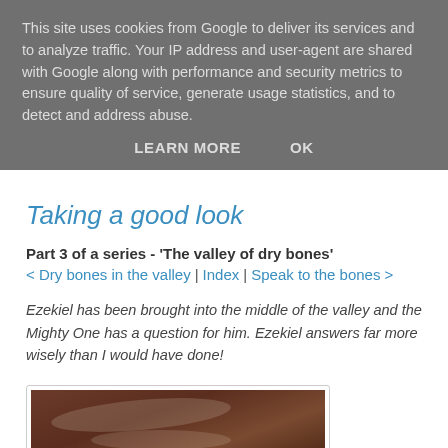This site uses cookies from Google to deliver its services and to analyze traffic. Your IP address and user-agent are shared with Google along with performance and security metrics to ensure quality of service, generate usage statistics, and to detect and address abuse.
LEARN MORE    OK
Taking a good look
Part 3 of a series - 'The valley of dry bones'
< Dry bones in the valley | Index | Speak to the bones >
Ezekiel has been brought into the middle of the valley and the Mighty One has a question for him. Ezekiel answers far more wisely than I would have done!
[Figure (photo): Dark brown photograph of dry bones scattered on a cave or valley floor, taken from above.]